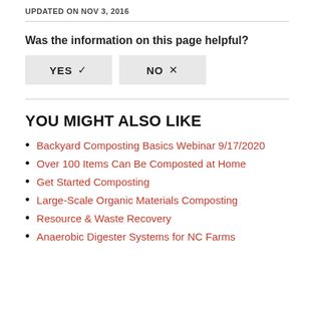UPDATED ON NOV 3, 2016
Was the information on this page helpful?
YES ✓   NO ×
YOU MIGHT ALSO LIKE
Backyard Composting Basics Webinar 9/17/2020
Over 100 Items Can Be Composted at Home
Get Started Composting
Large-Scale Organic Materials Composting
Resource & Waste Recovery
Anaerobic Digester Systems for NC Farms